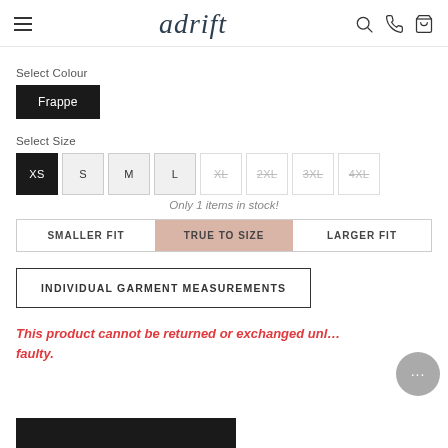adrift
Select Colour
Frappe
Select Size
XS  S  M  L  XL  2XL  3XL  4XL
Only 1 items in stock!
SMALLER FIT   TRUE TO SIZE   LARGER FIT
INDIVIDUAL GARMENT MEASUREMENTS
This product cannot be returned or exchanged unless faulty.